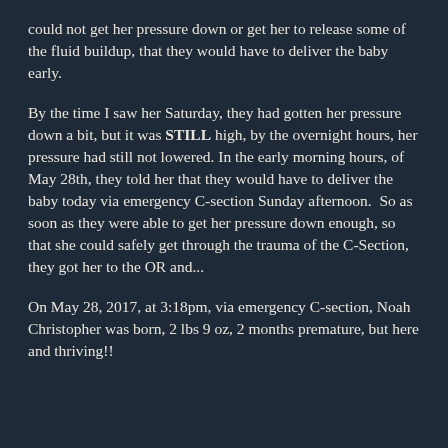could not get her pressure down or get her to release some of the fluid buildup, that they would have to deliver the baby early.
By the time I saw her Saturday, they had gotten her pressure down a bit, but it was STILL high, by the overnight hours, her pressure had still not lowered. In the early morning hours, of May 28th, they told her that they would have to deliver the baby today via emergency C-section Sunday afternoon.  So as soon as they were able to get her pressure down enough, so that she could safely get through the trauma of the C-Section, they got her to the OR and...
On May 28, 2017, at 3:18pm, via emergency C-section, Noah Christopher was born, 2 lbs 9 oz, 2 months premature, but here and thriving!!